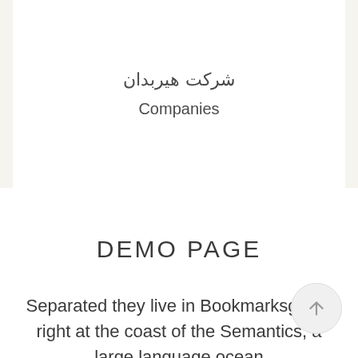شرکت هیربدان
Companies
DEMO PAGE
Separated they live in Bookmarksgrove right at the coast of the Semantics, a large language ocean